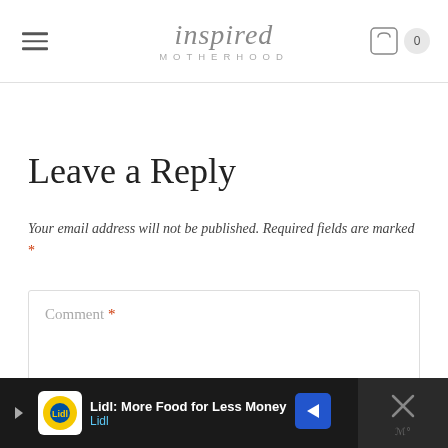inspired MOTHERHOOD
Leave a Reply
Your email address will not be published. Required fields are marked *
Comment *
[Figure (screenshot): Lidl advertisement bar at bottom: 'Lidl: More Food for Less Money' with Lidl logo and navigation arrow]